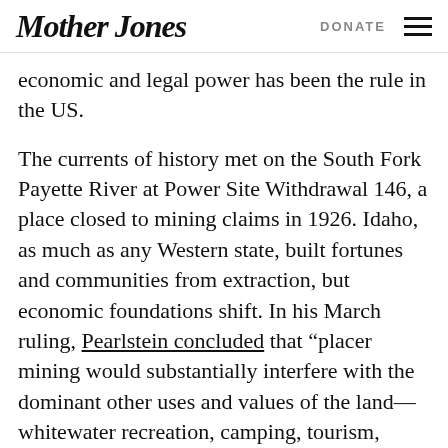Mother Jones | DONATE
economic and legal power has been the rule in the US.
The currents of history met on the South Fork Payette River at Power Site Withdrawal 146, a place closed to mining claims in 1926. Idaho, as much as any Western state, built fortunes and communities from extraction, but economic foundations shift. In his March ruling, Pearlstein concluded that “placer mining would substantially interfere with the dominant other uses and values of the land—whitewater recreation, camping, tourism, scenery viewing, fisheries, cultural resources, and the revenue from those activities flowing to the local economy.”